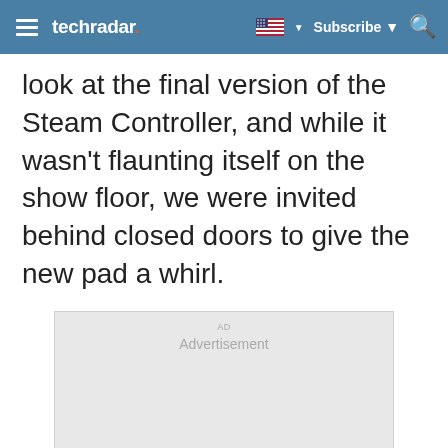techradar | Subscribe
look at the final version of the Steam Controller, and while it wasn't flaunting itself on the show floor, we were invited behind closed doors to give the new pad a whirl.
[Figure (other): Advertisement placeholder box]